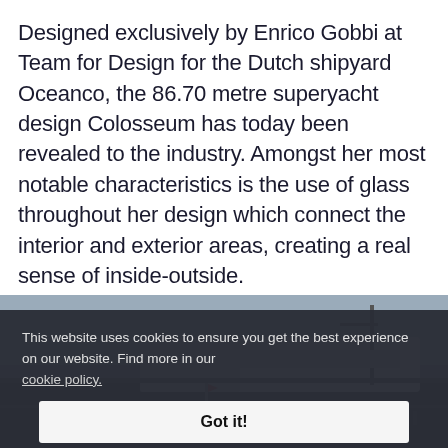Designed exclusively by Enrico Gobbi at Team for Design for the Dutch shipyard Oceanco, the 86.70 metre superyacht design Colosseum has today been revealed to the industry. Amongst her most notable characteristics is the use of glass throughout her design which connect the interior and exterior areas, creating a real sense of inside-outside.
[Figure (photo): Partial view of the Colosseum superyacht exterior, showing dark hull and upper deck structure against a sky background, partly obscured by cookie consent overlay.]
This website uses cookies to ensure you get the best experience on our website. Find more in our cookie policy. Got it!